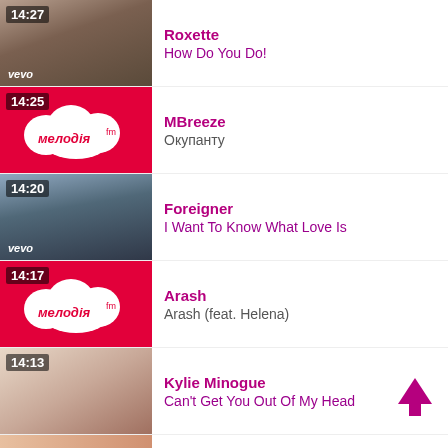14:27 | Roxette | How Do You Do!
14:25 | MBreeze | Окупанту
14:20 | Foreigner | I Want To Know What Love Is
14:17 | Arash | Arash (feat. Helena)
14:13 | Kylie Minogue | Can't Get You Out Of My Head
Modern Talking